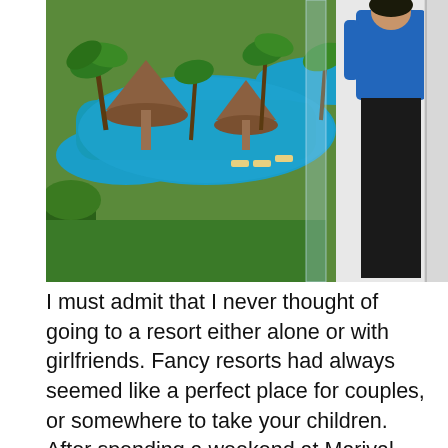[Figure (photo): Aerial or elevated view of a luxury resort pool area with palm trees, thatched-roof palapas, and blue pool water. A person in a blue top and black pants stands to the right near a glass railing or window.]
I must admit that I never thought of going to a resort either alone or with girlfriends. Fancy resorts had always seemed like a perfect place for couples, or somewhere to take your children. After spending a weekend at Marival Residences Luxury Resort I can confirm that retreats and resorts are also perfect for solo travelers and a groups of friends for a weekend getaway.